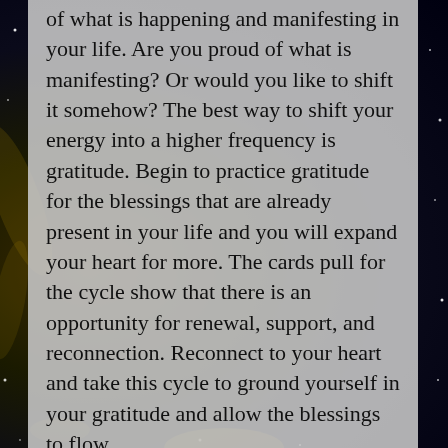of what is happening and manifesting in your life. Are you proud of what is manifesting? Or would you like to shift it somehow? The best way to shift your energy into a higher frequency is gratitude. Begin to practice gratitude for the blessings that are already present in your life and you will expand your heart for more. The cards pull for the cycle show that there is an opportunity for renewal, support, and reconnection. Reconnect to your heart and take this cycle to ground yourself in your gratitude and allow the blessings to flow.